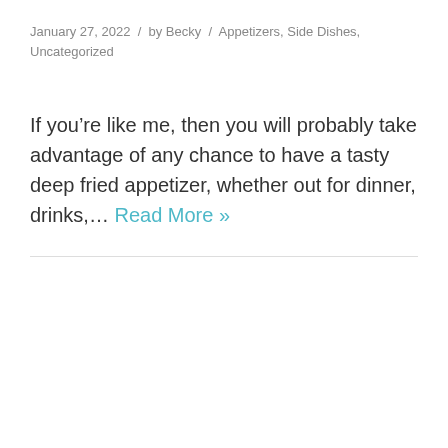January 27, 2022 / by Becky / Appetizers, Side Dishes, Uncategorized
If you’re like me, then you will probably take advantage of any chance to have a tasty deep fried appetizer, whether out for dinner, drinks,... Read More »